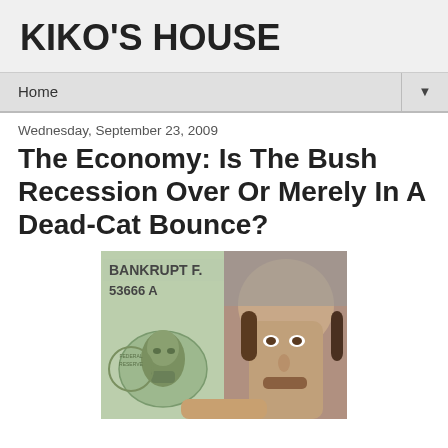KIKO'S HOUSE
Home
Wednesday, September 23, 2009
The Economy: Is The Bush Recession Over Or Merely In A Dead-Cat Bounce?
[Figure (photo): A composite photo showing a US dollar bill on the left side with text 'BANKRUPT F. 53666 A' and a man's face on the right side, held by a hand.]